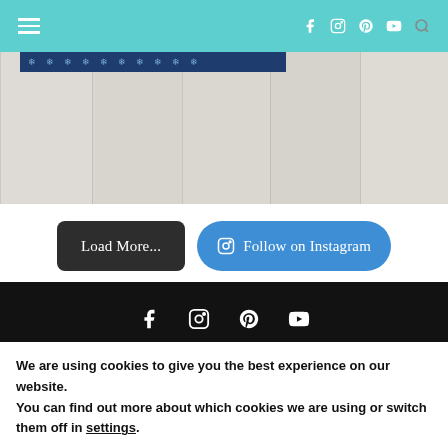Navigation header with hamburger menu and social icons (Facebook, Instagram, Pinterest, YouTube, Search)
[Figure (photo): Whitewashed wood plank background with a dark blue fabric strip at top showing snowflake pattern]
[Figure (other): Load More... button (dark) and Follow on Instagram button (blue) side by side]
Footer with Facebook, Instagram, Pinterest, YouTube social icons on black background with divider line
We are using cookies to give you the best experience on our website.
You can find out more about which cookies we are using or switch them off in settings.
Accept